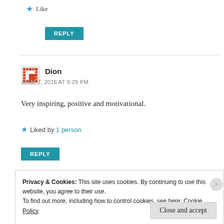★ Like
REPLY
Dion
JUNE 7, 2016 AT 8:29 PM
Very inspiring, positive and motivational.
★ Liked by 1 person
REPLY
Privacy & Cookies: This site uses cookies. By continuing to use this website, you agree to their use.
To find out more, including how to control cookies, see here: Cookie Policy
Close and accept